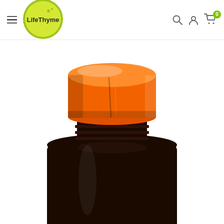LifeThyme — navigation header with logo, hamburger menu, search, account, and cart icons
[Figure (photo): Close-up photograph of a dark amber/brown supplement bottle with a bright orange plastic cap, shown against a white background. The bottle neck and upper body are visible, showing ridged plastic construction.]